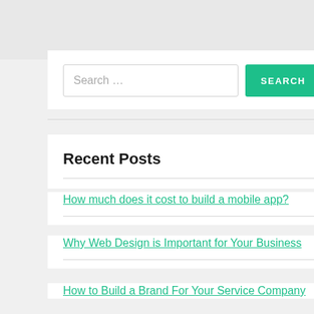[Figure (screenshot): Top gray banner area of a webpage]
Search ...
SEARCH
Recent Posts
How much does it cost to build a mobile app?
Why Web Design is Important for Your Business
How to Build a Brand For Your Service Company